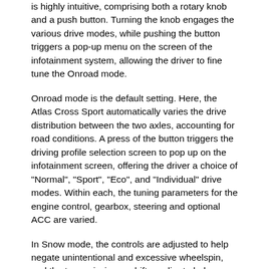is highly intuitive, comprising both a rotary knob and a push button. Turning the knob engages the various drive modes, while pushing the button triggers a pop-up menu on the screen of the infotainment system, allowing the driver to fine tune the Onroad mode.
Onroad mode is the default setting. Here, the Atlas Cross Sport automatically varies the drive distribution between the two axles, accounting for road conditions. A press of the button triggers the driving profile selection screen to pop up on the infotainment screen, offering the driver a choice of "Normal", "Sport", "Eco", and "Individual" drive modes. Within each, the tuning parameters for the engine control, gearbox, steering and optional ACC are varied.
In Snow mode, the controls are adjusted to help negate unintentional and excessive wheelspin, and the transmission upshifts earlier to help optimize traction. Communicating with the accelerator pedal and individual wheel speed sensors, the Traction Control System (TCS) helps reduce engine power the moment it detects slippage. The sensitivity of the system is more relaxed in straight-line situations to allow adequate power transfer, while the limits are tightened in cornering, where traction is of paramount importance. Last but not least, ACC is switched to the more defensive “Eco” driving profile when in Snow mode.